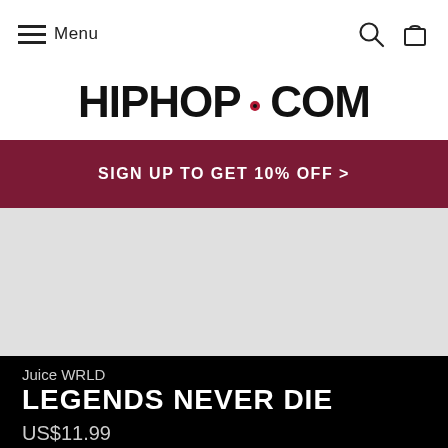Menu
[Figure (logo): HIPHOP.COM logo in bold black uppercase letters with vinyl record graphic replacing the O in .COM]
SIGN UP TO GET 10% OFF >
[Figure (photo): Grey placeholder area for product image]
Juice WRLD
LEGENDS NEVER DIE
US$11.99
Delivery from US$6.10